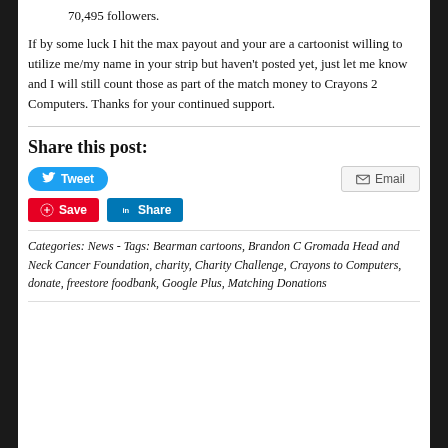70,495 followers.
If by some luck I hit the max payout and your are a cartoonist willing to utilize me/my name in your strip but haven't posted yet, just let me know and I will still count those as part of the match money to Crayons 2 Computers. Thanks for your continued support.
Share this post:
Tweet  Email  Save  Share
Categories: News - Tags: Bearman cartoons, Brandon C Gromada Head and Neck Cancer Foundation, charity, Charity Challenge, Crayons to Computers, donate, freestore foodbank, Google Plus, Matching Donations